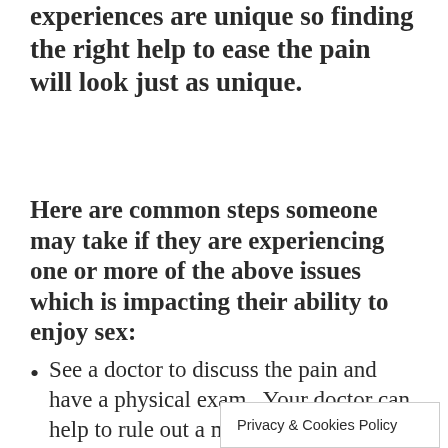experiences are unique so finding the right help to ease the pain will look just as unique.
Here are common steps someone may take if they are experiencing one or more of the above issues which is impacting their ability to enjoy sex:
See a doctor to discuss the pain and have a physical exam.  Your doctor can help to rule out a medical explanation … doctors can … n
Privacy & Cookies Policy